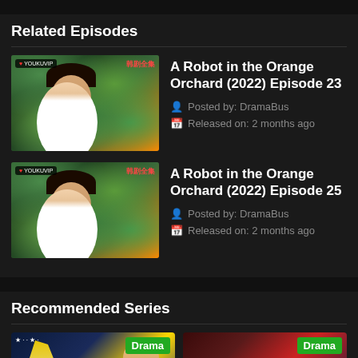Related Episodes
[Figure (photo): Thumbnail for A Robot in the Orange Orchard Episode 23 - man among orange trees with Youku VIP badge]
A Robot in the Orange Orchard (2022) Episode 23
Posted by: DramaBus
Released on: 2 months ago
[Figure (photo): Thumbnail for A Robot in the Orange Orchard Episode 25 - man among orange trees with Youku VIP badge]
A Robot in the Orange Orchard (2022) Episode 25
Posted by: DramaBus
Released on: 2 months ago
Recommended Series
[Figure (photo): Drama thumbnail - blue starry night background with woman, Drama badge]
[Figure (photo): Drama thumbnail - dark red background with stylized F4 letters, Drama badge]